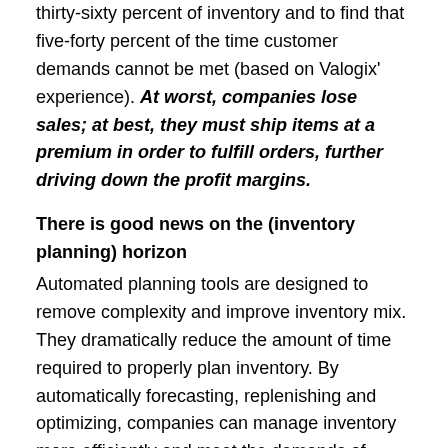thirty-sixty percent of inventory and to find that five-forty percent of the time customer demands cannot be met (based on Valogix' experience). At worst, companies lose sales; at best, they must ship items at a premium in order to fulfill orders, further driving down the profit margins.
There is good news on the (inventory planning) horizon
Automated planning tools are designed to remove complexity and improve inventory mix. They dramatically reduce the amount of time required to properly plan inventory. By automatically forecasting, replenishing and optimizing, companies can manage inventory more efficiently and meet the demands of customers and suppliers at lower costs for a powerful competitive edge.
Automated planning tools work in conjunction with ERP software to improve the inventory planning processes. Automated tools consider several factors—budget, carrying costs, planning horizon, leads times and more to create an optimal stocking quantity. The entire planning process must be